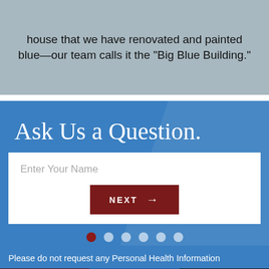house that we have renovated and painted blue—our team calls it the “Big Blue Building.”
Ask Us a Question.
[Figure (screenshot): Web form with 'Enter Your Name' input field and a dark red NEXT button with arrow]
Please do not request any Personal Health Information
Request   Call   Map